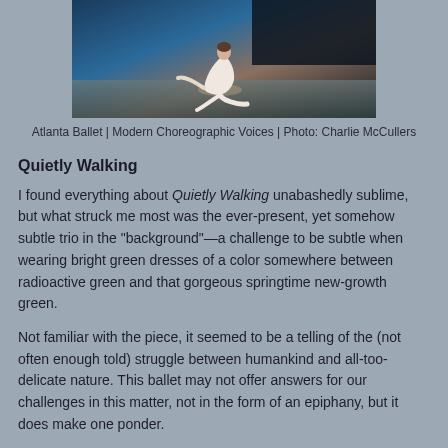[Figure (photo): A ballet dancer in a white costume performing on stage, crouched low with one arm extended, with a dark background.]
Atlanta Ballet | Modern Choreographic Voices | Photo: Charlie McCullers
Quietly Walking
I found everything about Quietly Walking unabashedly sublime, but what struck me most was the ever-present, yet somehow subtle trio in the "background"—a challenge to be subtle when wearing bright green dresses of a color somewhere between radioactive green and that gorgeous springtime new-growth green.
Not familiar with the piece, it seemed to be a telling of the (not often enough told) struggle between humankind and all-too-delicate nature. This ballet may not offer answers for our challenges in this matter, not in the form of an epiphany, but it does make one ponder.